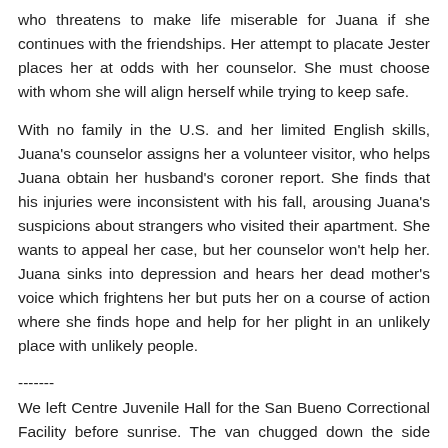who threatens to make life miserable for Juana if she continues with the friendships. Her attempt to placate Jester places her at odds with her counselor. She must choose with whom she will align herself while trying to keep safe.
With no family in the U.S. and her limited English skills, Juana's counselor assigns her a volunteer visitor, who helps Juana obtain her husband's coroner report. She finds that his injuries were inconsistent with his fall, arousing Juana's suspicions about strangers who visited their apartment. She wants to appeal her case, but her counselor won't help her. Juana sinks into depression and hears her dead mother's voice which frightens her but puts her on a course of action where she finds hope and help for her plight in an unlikely place with unlikely people.
-------
We left Centre Juvenile Hall for the San Bueno Correctional Facility before sunrise. The van chugged down the side streets, through the mist, and sped up the freeway ramp. The cold handcuff on my left wrist rattled against the bottom of the passenger window. Two other girls sat in